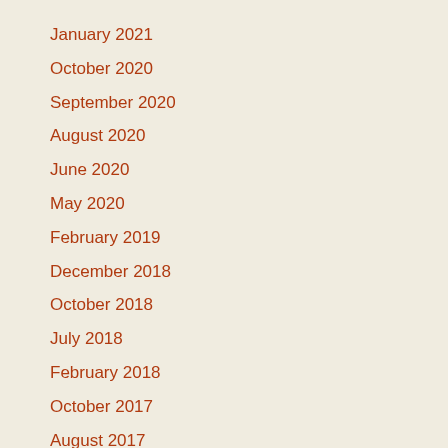January 2021
October 2020
September 2020
August 2020
June 2020
May 2020
February 2019
December 2018
October 2018
July 2018
February 2018
October 2017
August 2017
March 2017
February 2017